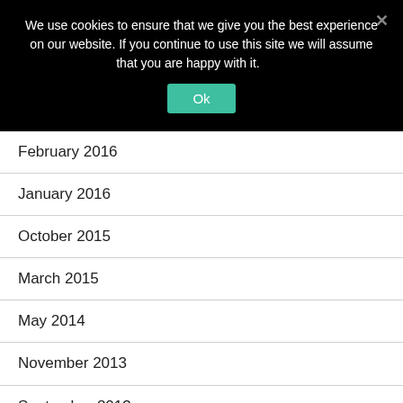We use cookies to ensure that we give you the best experience on our website. If you continue to use this site we will assume that you are happy with it.
February 2016
January 2016
October 2015
March 2015
May 2014
November 2013
September 2013
August 2013
June 2013
May 2013